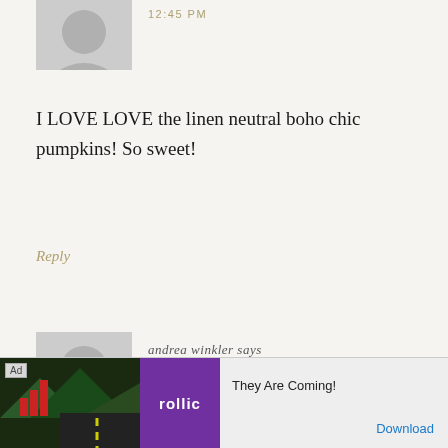[Figure (photo): Grey default avatar placeholder (top, partially cropped)]
12:45 PM
I LOVE LOVE the linen neutral boho chic pumpkins! So sweet!
Reply
[Figure (photo): Grey default avatar placeholder for andrea winkler]
andrea winkler says
SEPTEMBER 17, 2015 AT 12:48 PM
[Figure (screenshot): Ad banner: They Are Coming! rollic game ad with Download link]